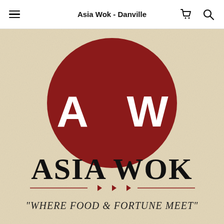Asia Wok - Danville
[Figure (logo): Asia Wok restaurant logo: a large dark red circle with white letters AW on a parchment-colored background, below which reads ASIA WOK in large black serif font, with decorative diamond divider lines and tagline 'WHERE FOOD & FORTUNE MEET' in italic serif font]